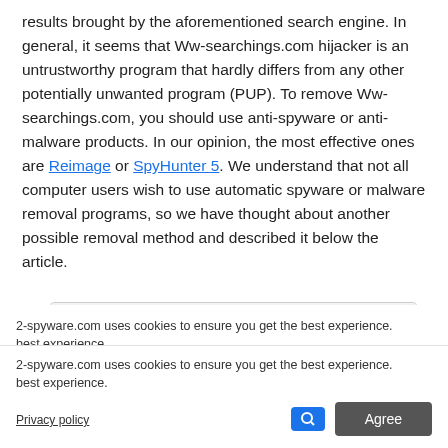results brought by the aforementioned search engine. In general, it seems that Ww-searchings.com hijacker is an untrustworthy program that hardly differs from any other potentially unwanted program (PUP). To remove Ww-searchings.com, you should use anti-spyware or anti-malware products. In our opinion, the most effective ones are Reimage or SpyHunter 5. We understand that not all computer users wish to use automatic spyware or malware removal programs, so we have thought about another possible removal method and described it below the article.
[Figure (screenshot): Browser screenshot showing ww-searchings.com in the address bar of a Chrome-like browser with a purple gradient background page]
2-spyware.com uses cookies to ensure you get the best experience.
Privacy policy
Agree
vser hijacker